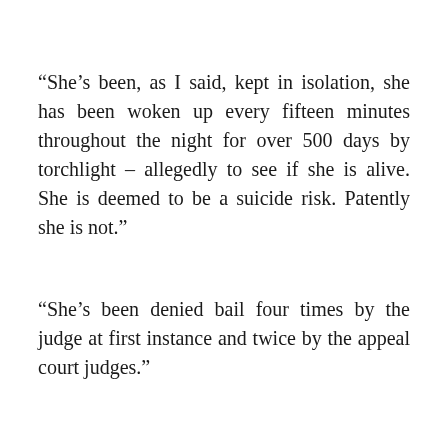“She’s been, as I said, kept in isolation, she has been woken up every fifteen minutes throughout the night for over 500 days by torchlight – allegedly to see if she is alive. She is deemed to be a suicide risk. Patently she is not.”
“She’s been denied bail four times by the judge at first instance and twice by the appeal court judges.”